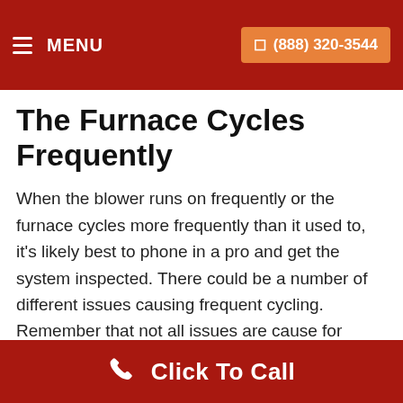MENU  (888) 320-3544
The Furnace Cycles Frequently
When the blower runs on frequently or the furnace cycles more frequently than it used to, it's likely best to phone in a pro and get the system inspected. There could be a number of different issues causing frequent cycling. Remember that not all issues are cause for replacing furnace and many could even be solved with replacement parts. Either way, be wary of these signs.
Click To Call